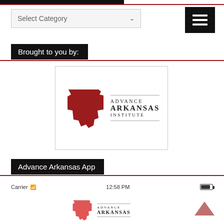[Figure (screenshot): Top navigation bar section with black bar, red line, a 'Select Category' dropdown, and a hamburger menu button]
Brought to you by:
[Figure (logo): Advance Arkansas Institute logo with red Arkansas state outline and text 'ADVANCE ARKANSAS INSTITUTE']
Advance Arkansas App
[Figure (screenshot): Mobile app screenshot showing carrier, 12:58 PM time, battery, and Advance Arkansas logo at bottom]